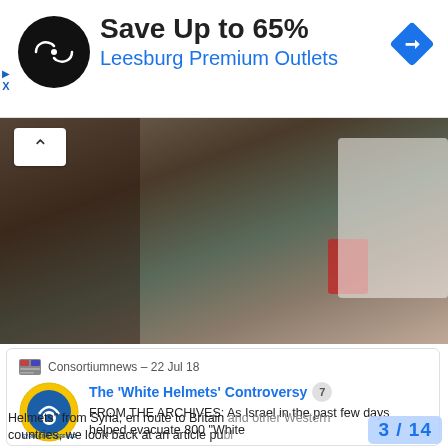[Figure (screenshot): Advertisement banner for Leesburg Premium Outlets with a black circle logo and blue diamond icon. Text: Save Up to 65% / Leesburg Premium Outlets]
[Figure (photo): Video thumbnail showing a close-up scene with people, partially obscured, with play/up button overlay]
[Figure (screenshot): Article card from Consortiumnews dated 22 Jul 18. Title: The 'White Helmets' Controversy (7). Snippet: FROM THE ARCHIVES: As Israel in the past few days helped evacuate 800 White Helmets from Syria, en route to Britain and other Western countries, we look back at an article published by Consortium News in Oct. 2016. By Rick]
3 / 14